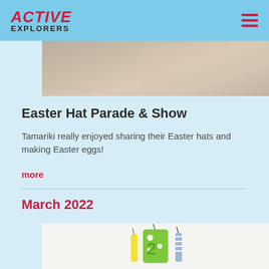ACTIVE EXPLORERS
[Figure (photo): Child holding Easter eggs, wearing a Little Mermaid t-shirt, top portion of body visible]
Easter Hat Parade & Show
Tamariki really enjoyed sharing their Easter hats and making Easter eggs!
more
March 2022
[Figure (photo): Birthday candles including a green number 2 candle with white dots, a yellow candle, and a blue/white candle on a light background]